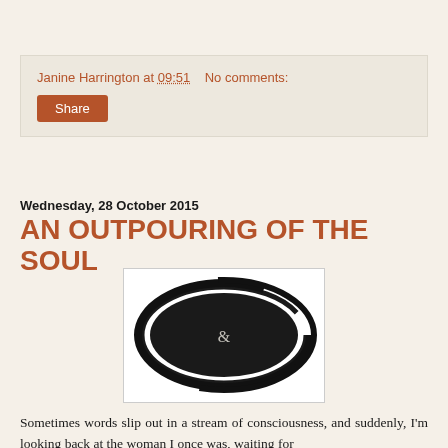Janine Harrington at 09:51   No comments:
Share
Wednesday, 28 October 2015
AN OUTPOURING OF THE SOUL
[Figure (illustration): A black elliptical swirl shape on white background, resembling a vinyl record or abstract brushstroke, with a small ampersand symbol in the center.]
Sometimes words slip out in a stream of consciousness, and suddenly, I'm looking back at the woman I once was, waiting for